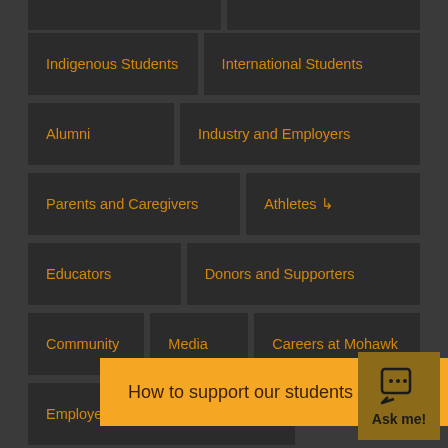Indigenous Students
International Students
Alumni
Industry and Employers
Parents and Caregivers
Athletes ˅
Educators
Donors and Supporters
Community
Media
Careers at Mohawk
Employees
How to support our students